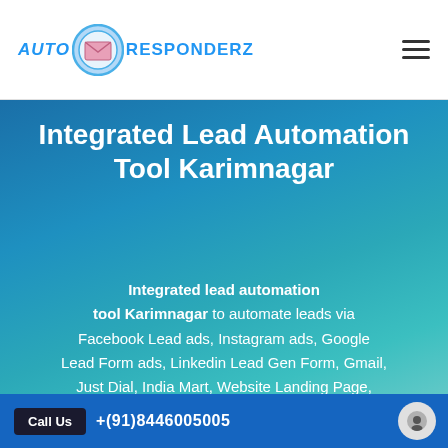[Figure (logo): AutoResponderz logo with blue envelope icon and blue text]
Integrated Lead Automation Tool Karimnagar
Integrated lead automation tool Karimnagar to automate leads via Facebook Lead ads, Instagram ads, Google Lead Form ads, Linkedin Lead Gen Form, Gmail, Just Dial, India Mart, Website Landing Page, Sales Pa... Tele calling, Trade fair, Expo leads. Auto follow-up with drip SMS, Whatsapp, email
Call Us +( 91)8446005005